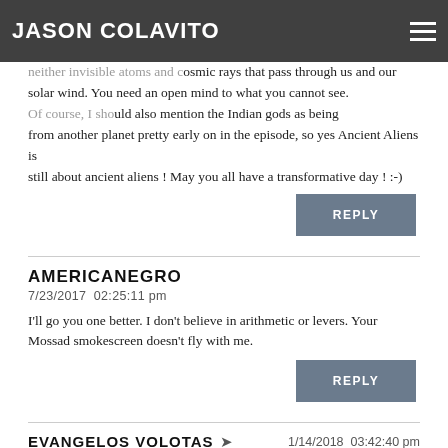JASON COLAVITO
neither invisible atoms and cosmic rays that pass through us and our solar wind. You need an open mind to what you cannot see. Of course, I should also mention the Indian gods as being from another planet pretty early on in the episode, so yes Ancient Aliens is still about ancient aliens ! May you all have a transformative day ! :-)
REPLY
AMERICANEGRO
7/23/2017 02:25:11 pm
I'll go you one better. I don't believe in arithmetic or levers. Your Mossad smokescreen doesn't fly with me.
REPLY
EVANGELOS VOLOTAS
1/14/2018 03:42:40 pm
for more information, on "Our Course in the Stellar Space" please visit following web page.